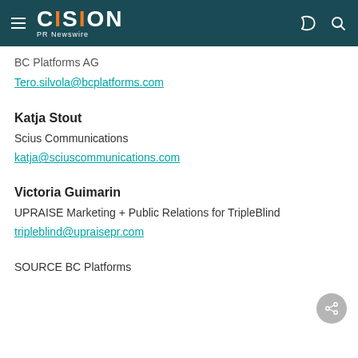CISION PR Newswire
BC Platforms AG
Tero.silvola@bcplatforms.com
Katja Stout
Scius Communications
katja@sciuscommunications.com
Victoria Guimarin
UPRAISE Marketing + Public Relations for TripleBlind
tripleblind@upraisepr.com
SOURCE BC Platforms